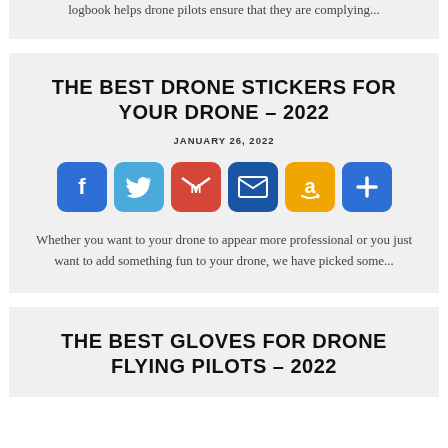logbook helps drone pilots ensure that they are complying...
THE BEST DRONE STICKERS FOR YOUR DRONE – 2022
JANUARY 26, 2022
[Figure (infographic): Six social sharing icon buttons: Facebook (blue), Twitter (light blue), Gmail (red), Email (dark blue), Amazon (orange/yellow), Share/Plus (blue)]
Whether you want to your drone to appear more professional or you just want to add something fun to your drone, we have picked some...
THE BEST GLOVES FOR DRONE FLYING PILOTS – 2022